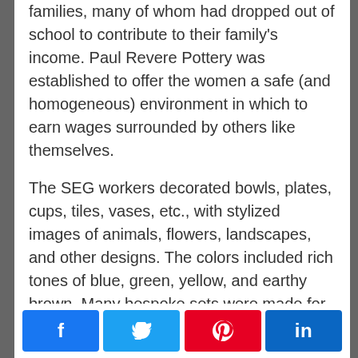families, many of whom had dropped out of school to contribute to their family's income. Paul Revere Pottery was established to offer the women a safe (and homogeneous) environment in which to earn wages surrounded by others like themselves.
The SEG workers decorated bowls, plates, cups, tiles, vases, etc., with stylized images of animals, flowers, landscapes, and other designs. The colors included rich tones of blue, green, yellow, and earthy brown. Many bespoke sets were made for children's tea parties or to celebrate special family events. The outlines for these wonderful designs were initially created by adult women artists. Until they developed their own design and craft skills, the girls literally painted within the lines of the
Facebook Twitter Pinterest LinkedIn